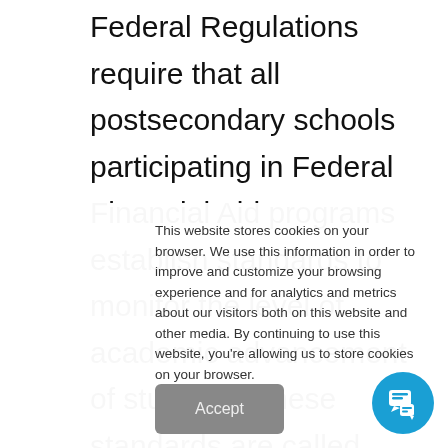Federal Regulations require that all postsecondary schools participating in Federal Financial Aid programs establish standards to monitor the level of academic advancement of students. These standards are called Satisfactory Academic Progress (SAP). Students can lose their eligibility for financial aid by failing to maintain SAP. There are two primary components in measuring SAP: A
This website stores cookies on your browser. We use this information in order to improve and customize your browsing experience and for analytics and metrics about our visitors both on this website and other media. By continuing to use this website, you're allowing us to store cookies on your browser.